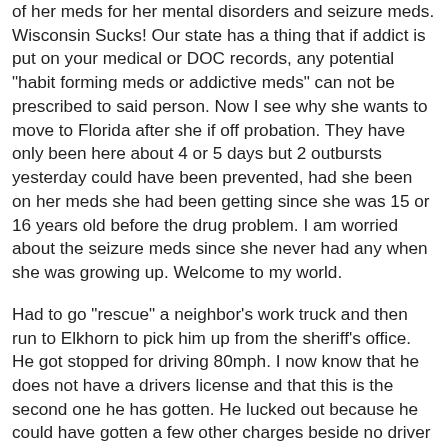of her meds for her mental disorders and seizure meds. Wisconsin Sucks! Our state has a thing that if addict is put on your medical or DOC records, any potential "habit forming meds or addictive meds" can not be prescribed to said person. Now I see why she wants to move to Florida after she if off probation. They have only been here about 4 or 5 days but 2 outbursts yesterday could have been prevented, had she been on her meds she had been getting since she was 15 or 16 years old before the drug problem. I am worried about the seizure meds since she never had any when she was growing up. Welcome to my world.
Had to go "rescue" a neighbor's work truck and then run to Elkhorn to pick him up from the sheriff's office. He got stopped for driving 80mph. I now know that he does not have a drivers license and that this is the second one he has gotten. He lucked out because he could have gotten a few other charges beside no driver license and speeding.